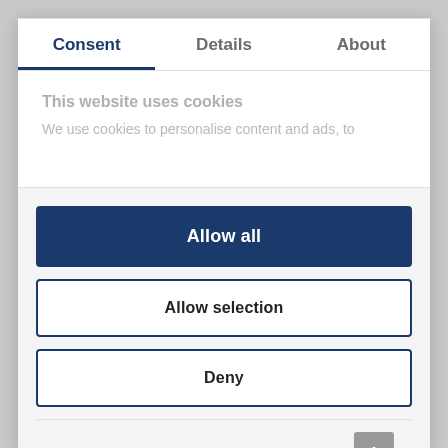Consent | Details | About
This website uses cookies
We use cookies to personalise content and ads, to
Allow all
Allow selection
Deny
Powered by Cookiebot by Usercentrics